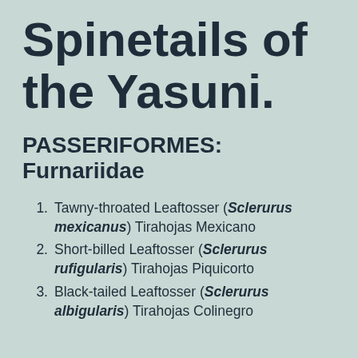Spinetails of the Yasuni.
PASSERIFORMES: Furnariidae
Tawny-throated Leaftosser (Sclerurus mexicanus) Tirahojas Mexicano
Short-billed Leaftosser (Sclerurus rufigularis) Tirahojas Piquicorto
Black-tailed Leaftosser (Sclerurus albigularis) Tirahojas Colín...